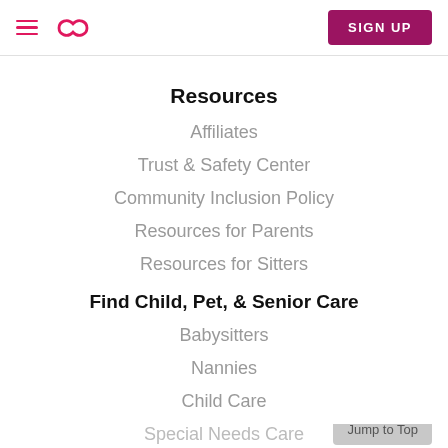Sittercity navigation header with hamburger menu, logo, and SIGN UP button
Resources
Affiliates
Trust & Safety Center
Community Inclusion Policy
Resources for Parents
Resources for Sitters
Find Child, Pet, & Senior Care
Babysitters
Nannies
Child Care
Special Needs Care